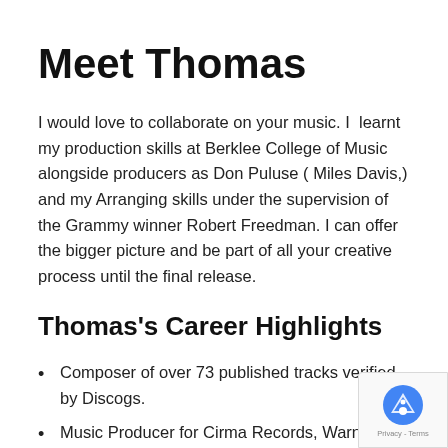Meet Thomas
I would love to collaborate on your music. I  learnt my production skills at Berklee College of Music alongside producers as Don Puluse ( Miles Davis,) and my Arranging skills under the supervision of the Grammy winner Robert Freedman. I can offer the bigger picture and be part of all your creative process until the final release.
Thomas's Career Highlights
Composer of over 73 published tracks verified by Discogs.
Music Producer for Cirma Records, Warner